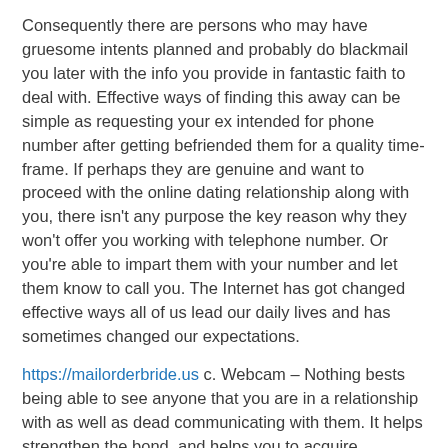Consequently there are persons who may have gruesome intents planned and probably do blackmail you later with the info you provide in fantastic faith to deal with. Effective ways of finding this away can be simple as requesting your ex intended for phone number after getting befriended them for a quality time-frame. If perhaps they are genuine and want to proceed with the online dating relationship along with you, there isn't any purpose the key reason why they won't offer you working with telephone number. Or you're able to impart them with your number and let them know to call you. The Internet has got changed effective ways all of us lead our daily lives and has sometimes changed our expectations.
https://mailorderbride.us c. Webcam – Nothing bests being able to see anyone that you are in a relationship with as well as dead communicating with them. It helps strengthen the bond, and helps you to acquire acquainted with these people and vice-versa. There are many immediate messaging services that offer a webcam feature, and webcams aren't that expensive. In fact , there are numerous kits that will be included with a couple of webcams. You keep one, so you dispatch your sweet heart all the other.
Perhaps, the home is in a small society , nor acquire...